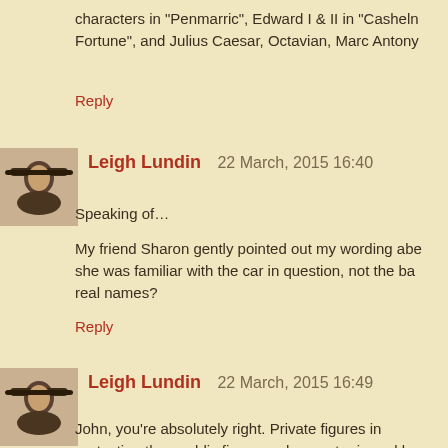characters in "Penmarric", Edward I & II in "Cashel... Fortune", and Julius Caesar, Octavian, Marc Antony...
Reply
Leigh Lundin   22 March, 2015 16:40
Speaking of...
My friend Sharon gently pointed out my wording abe... she was familiar with the car in question, not the ba... real names?
Reply
Leigh Lundin   22 March, 2015 16:49
John, you're absolutely right. Private figures in ... protection than public figures, who must grin and be...
The UK has gone the opposite direction by afford...